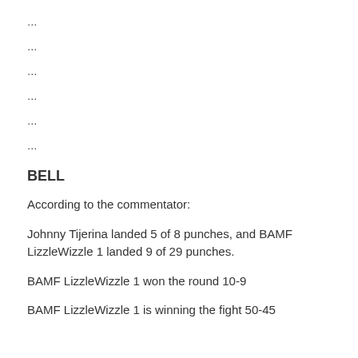...
...
...
...
...
...
BELL
According to the commentator:
Johnny Tijerina landed 5 of 8 punches, and BAMF LizzleWizzle 1 landed 9 of 29 punches.
BAMF LizzleWizzle 1 won the round 10-9
BAMF LizzleWizzle 1 is winning the fight 50-45